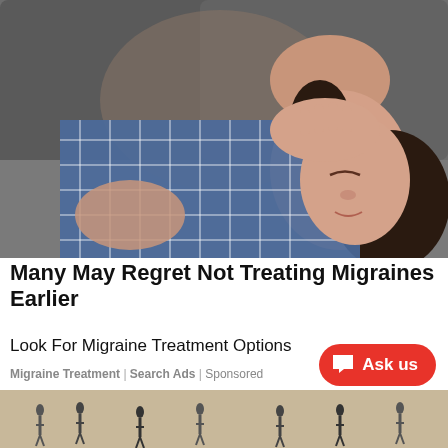[Figure (photo): Woman lying on a sofa with hand on forehead, eyes closed, appearing to suffer from a migraine headache. She is wearing a blue and white checkered shirt.]
Many May Regret Not Treating Migraines Earlier
Look For Migraine Treatment Options
Migraine Treatment | Search Ads | Sponsored
[Figure (photo): Partial view of people standing in an outdoor sandy/beach area, seen from above.]